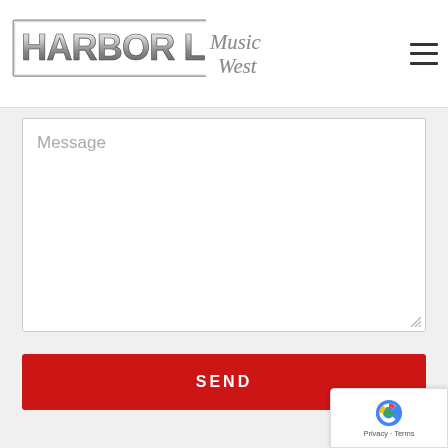Harbor Lights Music West
[Figure (screenshot): Message textarea input field with placeholder text 'Message' and resize handle in bottom-right corner]
SEND
[Figure (logo): Google reCAPTCHA badge with logo and Privacy - Terms text]